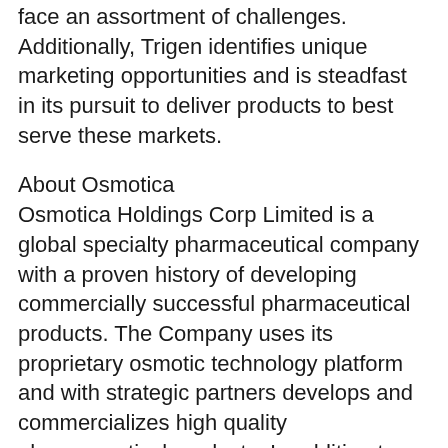face an assortment of challenges. Additionally, Trigen identifies unique marketing opportunities and is steadfast in its pursuit to deliver products to best serve these markets.
About Osmotica
Osmotica Holdings Corp Limited is a global specialty pharmaceutical company with a proven history of developing commercially successful pharmaceutical products. The Company uses its proprietary osmotic technology platform and with strategic partners develops and commercializes high quality pharmaceutical products. In addition to the products currently on the market, the Company's pipeline includes numerous ANDA programs and several innovative neurology-based NDA programs.
Osmotica Holdings Corp Limited and its related companies form an international group of companies with principal operations located in the United States,